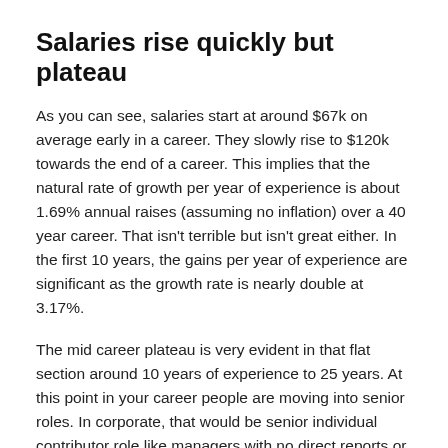Salaries rise quickly but plateau
As you can see, salaries start at around $67k on average early in a career. They slowly rise to $120k towards the end of a career. This implies that the natural rate of growth per year of experience is about 1.69% annual raises (assuming no inflation) over a 40 year career. That isn't terrible but isn't great either. In the first 10 years, the gains per year of experience are significant as the growth rate is nearly double at 3.17%.
The mid career plateau is very evident in that flat section around 10 years of experience to 25 years. At this point in your career people are moving into senior roles. In corporate, that would be senior individual contributor role like managers with no direct reports or senior analysts. In field positions this would be similar to being a manager who is directly still leading front line workers.